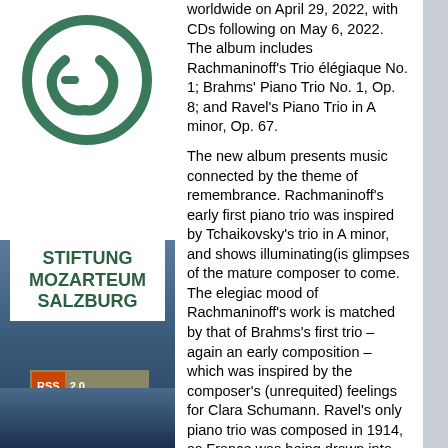[Figure (logo): Stiftung Mozarteum Salzburg logo — circular green symbol with stylized GM letters above text STIFTUNG MOZARTEUM SALZBURG]
worldwide on April 29, 2022, with CDs following on May 6, 2022. The album includes Rachmaninoff's Trio élégiaque No. 1; Brahms' Piano Trio No. 1, Op. 8; and Ravel's Piano Trio in A minor, Op. 67.
The new album presents music connected by the theme of remembrance. Rachmaninoff's early first piano trio was inspired by Tchaikovsky's trio in A minor, and shows illuminating(is glimpses of the mature composer to come. The elegiac mood of Rachmaninoff's work is matched by that of Brahms's first trio – again an early composition – which was inspired by the composer's (unrequited) feelings for Clara Schumann. Ravel's only piano trio was composed in 1914, as France was being drawn into the horrors of the first world war. Ravel draws extensively on the rhythms and forms of his native Basque musical traditions, while the title of the